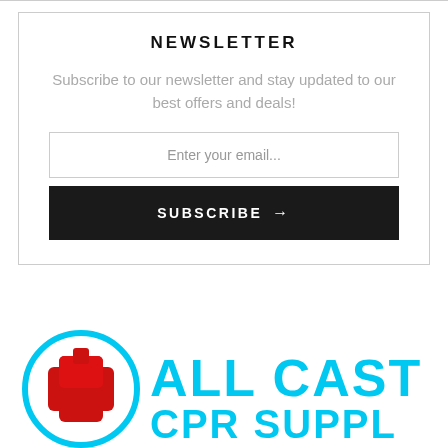NEWSLETTER
Subscribe to our newsletter and stay updated to our best offers and deals!
Enter your email...
SUBSCRIBE →
[Figure (logo): All Cast CPR Supplies logo with circular medical cross icon in red and blue gradient, and cyan text reading ALL CAST CPR SUPPLIES]